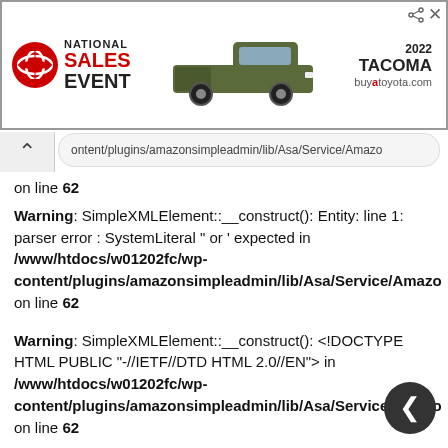[Figure (photo): Toyota National Sales Event advertisement banner showing a 2022 Tacoma truck in green/olive color, Toyota logo, and buyatoyota.com URL]
content/plugins/amazonsimpleadmin/lib/Asa/Service/Amazon on line 62
Warning: SimpleXMLElement::__construct(): Entity: line 1: parser error : SystemLiteral " or ' expected in /www/htdocs/w01202fc/wp-content/plugins/amazonsimpleadmin/lib/Asa/Service/Amazon on line 62
Warning: SimpleXMLElement::__construct(): <!DOCTYPE HTML PUBLIC "-//IETF//DTD HTML 2.0//EN"> in /www/htdocs/w01202fc/wp-content/plugins/amazonsimpleadmin/lib/Asa/Service/Amazon on line 62
Warning: SimpleXMLElement::__construct(): ^ in /www/htdocs/w01202fc/wp-content/plugins/amazonsimpleadmin/lib/Asa/Service/Amazon on line 62